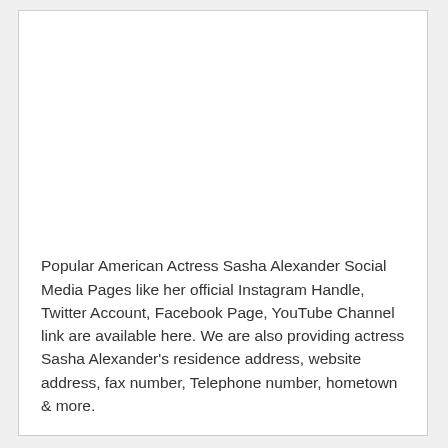Popular American Actress Sasha Alexander Social Media Pages like her official Instagram Handle, Twitter Account, Facebook Page, YouTube Channel link are available here. We are also providing actress Sasha Alexander's residence address, website address, fax number, Telephone number, hometown & more.